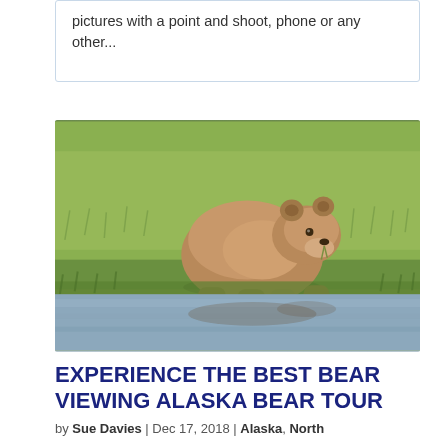pictures with a point and shoot, phone or any other...
[Figure (photo): A brown bear standing in green grass near a reflective body of water in Alaska]
EXPERIENCE THE BEST BEAR VIEWING ALASKA BEAR TOUR
by Sue Davies | Dec 17, 2018 | Alaska, North